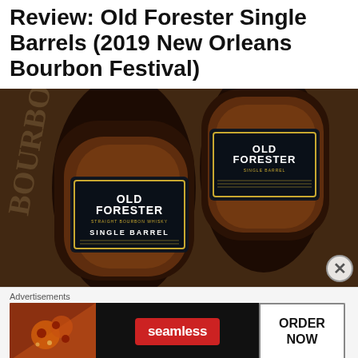Review: Old Forester Single Barrels (2019 New Orleans Bourbon Festival)
[Figure (photo): Two Old Forester Single Barrel bourbon bottles with dark labels featuring gold lettering, lying on a burlap sack background. Labels read 'Old Forester Single Barrel' with 'Straight Bourbon Whisky' and festival-specific text.]
Advertisements
[Figure (screenshot): Seamless food delivery advertisement banner showing pizza image on left, red Seamless logo pill in center, and 'ORDER NOW' button on right with dark background.]